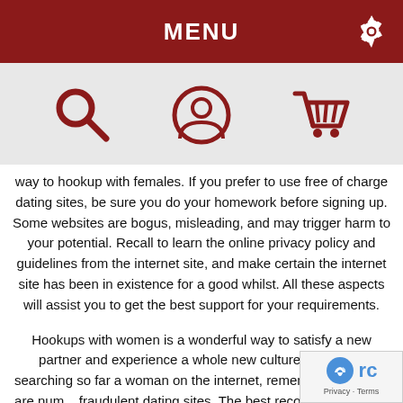MENU
[Figure (illustration): Three dark red icons in a row: magnifying glass (search), user/person circle, shopping cart]
way to hookup with females. If you prefer to use free of charge dating sites, be sure you do your homework before signing up. Some websites are bogus, misleading, and may trigger harm to your potential. Recall to learn the online privacy policy and guidelines from the internet site, and make certain the internet site has been in existence for a good whilst. All these aspects will assist you to get the best support for your requirements.
Hookups with women is a wonderful way to satisfy a new partner and experience a whole new culture. If you are searching so far a woman on the internet, remember that there are num... fraudulent dating sites. The best recommendation is to ch... the Far better Business Bureau before employing any dating